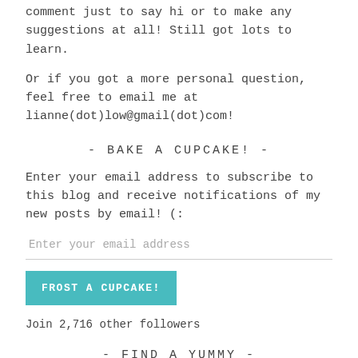comment just to say hi or to make any suggestions at all! Still got lots to learn.
Or if you got a more personal question, feel free to email me at lianne(dot)low@gmail(dot)com!
- BAKE A CUPCAKE! -
Enter your email address to subscribe to this blog and receive notifications of my new posts by email! (:
Enter your email address
FROST A CUPCAKE!
Join 2,716 other followers
- FIND A YUMMY -